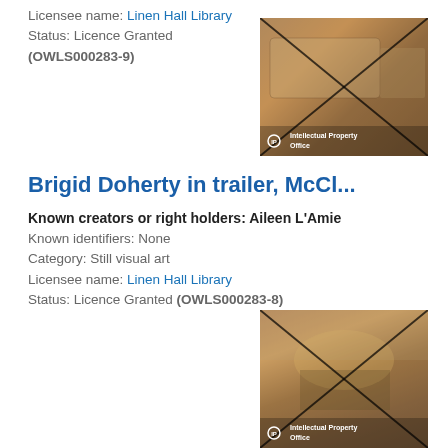Licensee name: Linen Hall Library
Status: Licence Granted (OWLS000283-9)
[Figure (photo): Watermarked thumbnail photo showing a caravan/trailer with a person, overlaid with diagonal X lines and Intellectual Property Office watermark]
Brigid Doherty in trailer, McCl...
Known creators or right holders: Aileen L'Amie
Known identifiers: None
Category: Still visual art
Licensee name: Linen Hall Library
Status: Licence Granted (OWLS000283-8)
[Figure (photo): Watermarked thumbnail photo showing an outdoor scene with structures and people, overlaid with diagonal X lines and Intellectual Property Office watermark]